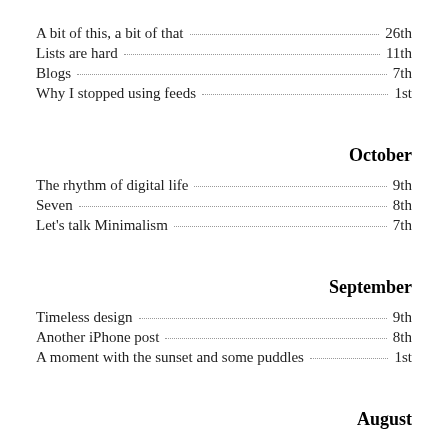A bit of this, a bit of that ... 26th
Lists are hard ... 11th
Blogs ... 7th
Why I stopped using feeds ... 1st
October
The rhythm of digital life ... 9th
Seven ... 8th
Let's talk Minimalism ... 7th
September
Timeless design ... 9th
Another iPhone post ... 8th
A moment with the sunset and some puddles ... 1st
August